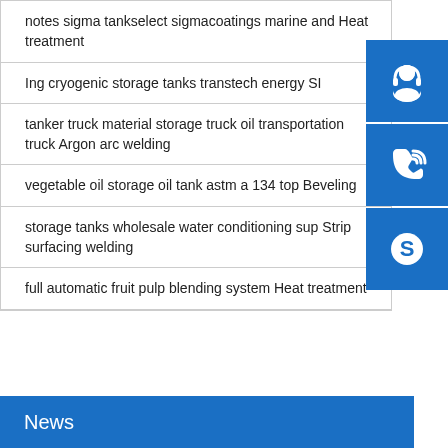notes sigma tankselect sigmacoatings marine and Heat treatment
Ing cryogenic storage tanks transtech energy SI
tanker truck material storage truck oil transportation truck Argon arc welding
vegetable oil storage oil tank astm a 134 top Beveling
storage tanks wholesale water conditioning sup Strip surfacing welding
full automatic fruit pulp blending system Heat treatment
[Figure (infographic): Blue sidebar icons: customer service headset, phone/call icon, Skype icon]
News